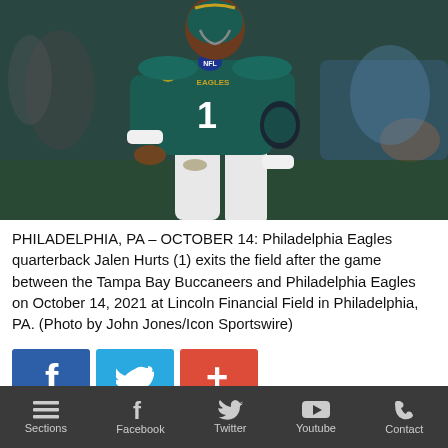[Figure (photo): Philadelphia Eagles quarterback Jalen Hurts wearing teal Eagles jersey #1 with Captain patch, walking on the field. The player is in motion, wearing white pants, with stadium background blurred.]
PHILADELPHIA, PA – OCTOBER 14: Philadelphia Eagles quarterback Jalen Hurts (1) exits the field after the game between the Tampa Bay Buccaneers and Philadelphia Eagles on October 14, 2021 at Lincoln Financial Field in Philadelphia, PA. (Photo by John Jones/Icon Sportswire)
[Figure (infographic): Three social media sharing buttons: Facebook (blue with 'f' icon), Twitter (light blue with bird icon), and a red '+' button]
Sections | Facebook | Twitter | Youtube | Contact